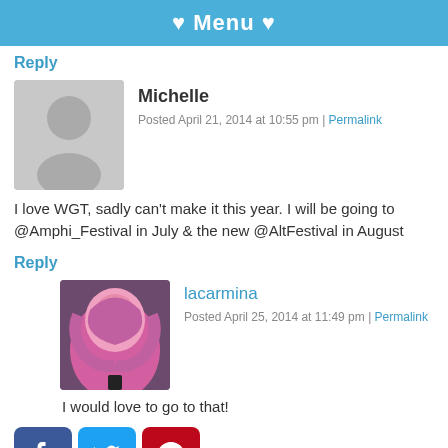♥ Menu ♥
Reply
Michelle
Posted April 21, 2014 at 10:55 pm | Permalink
I love WGT, sadly can't make it this year. I will be going to @Amphi_Festival in July & the new @AltFestival in August
Reply
lacarmina
Posted April 25, 2014 at 11:49 pm | Permalink
I would love to go to that!
[Figure (infographic): Social media share icons: Facebook (blue), Twitter (light blue), Pinterest (red), LinkedIn (dark blue)]